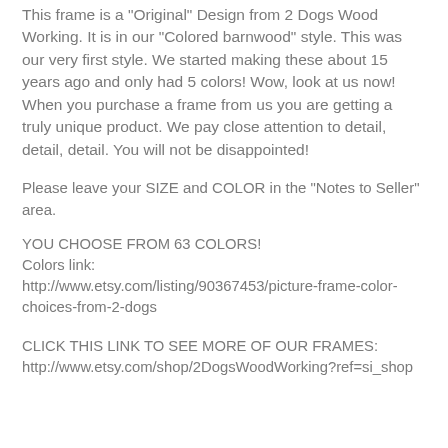This frame is a "Original" Design from 2 Dogs Wood Working. It is in our "Colored barnwood" style. This was our very first style. We started making these about 15 years ago and only had 5 colors! Wow, look at us now! When you purchase a frame from us you are getting a truly unique product. We pay close attention to detail, detail, detail. You will not be disappointed!
Please leave your SIZE and COLOR in the "Notes to Seller" area.
YOU CHOOSE FROM 63 COLORS!
Colors link:
http://www.etsy.com/listing/90367453/picture-frame-color-choices-from-2-dogs
CLICK THIS LINK TO SEE MORE OF OUR FRAMES:
http://www.etsy.com/shop/2DogsWoodWorking?ref=si_shop